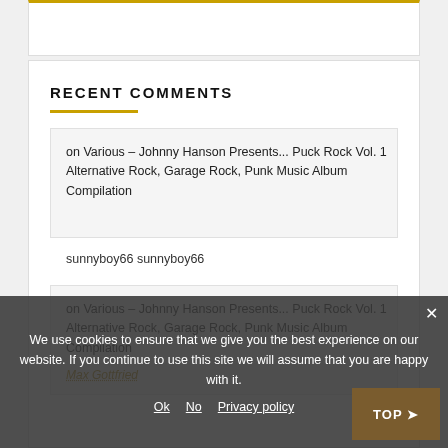RECENT COMMENTS
on Various – Johnny Hanson Presents... Puck Rock Vol. 1 Alternative Rock, Garage Rock, Punk Music Album Compilation
sunnyboy66 sunnyboy66
on Various – Johnny Hanson Presents... Puck Rock Vol. 1 Alternative Rock, Garage Rock, Punk Music Album Compilation
Max Gottfried
We use cookies to ensure that we give you the best experience on our website. If you continue to use this site we will assume that you are happy with it. Ok No Privacy policy